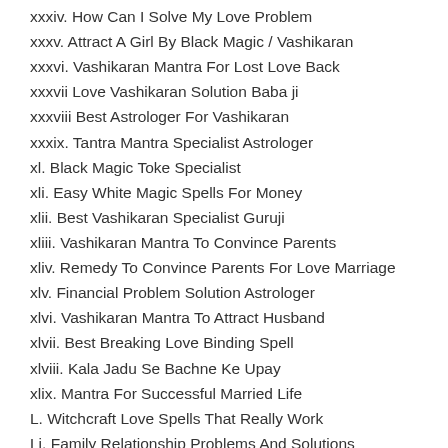xxxiv. How Can I Solve My Love Problem
xxxv. Attract A Girl By Black Magic / Vashikaran
xxxvi. Vashikaran Mantra For Lost Love Back
xxxvii Love Vashikaran Solution Baba ji
xxxviii Best Astrologer For Vashikaran
xxxix. Tantra Mantra Specialist Astrologer
xl. Black Magic Toke Specialist
xli. Easy White Magic Spells For Money
xlii. Best Vashikaran Specialist Guruji
xliii. Vashikaran Mantra To Convince Parents
xliv. Remedy To Convince Parents For Love Marriage
xlv. Financial Problem Solution Astrologer
xlvi. Vashikaran Mantra To Attract Husband
xlvii. Best Breaking Love Binding Spell
xlviii. Kala Jadu Se Bachne Ke Upay
xlix. Mantra For Successful Married Life
L. Witchcraft Love Spells That Really Work
Li. Family Relationship Problems And Solutions